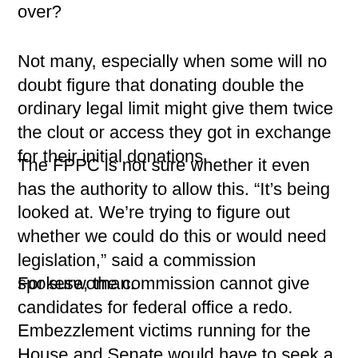over?
Not many, especially when some will no doubt figure that donating double the ordinary legal limit might give them twice the clout or access they got in exchange for their initial donations.
The FPPC is not sure whether it even has the authority to allow this. “It’s being looked at. We’re trying to figure out whether we could do this or would need legislation,” said a commission spokeswoman.
For sure, the commission cannot give candidates for federal office a redo. Embezzlement victims running for the House and Senate would have to seek a dispensation from the Federal Election Commission